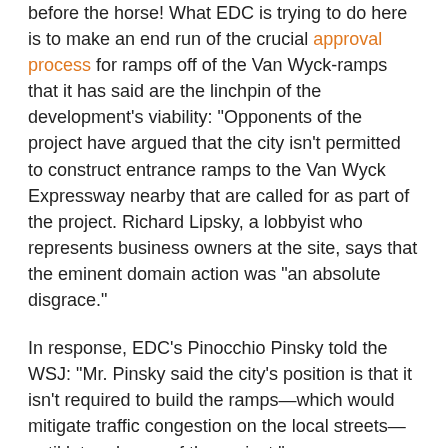before the horse! What EDC is trying to do here is to make an end run of the crucial approval process for ramps off of the Van Wyck-ramps that it has said are the linchpin of the development's viability: "Opponents of the project have argued that the city isn't permitted to construct entrance ramps to the Van Wyck Expressway nearby that are called for as part of the project. Richard Lipsky, a lobbyist who represents business owners at the site, says that the eminent domain action was "an absolute disgrace."
In response, EDC's Pinocchio Pinsky told the WSJ: "Mr. Pinsky said the city's position is that it isn't required to build the ramps—which would mitigate traffic congestion on the local streets—until later phases of the project."
All of this dishonesty needs to cease and desist-or else the city will find itself back in court to explain why it simply can't tell the truth. But the rationale for all of this is fairly simple: the proposed Van Wyck ramps-no matter how the EDC consultants gyrate-can't be made to work in order to accommodate the 80,000 car and truck trips generated by this massive over-development. In order to avoid admitting